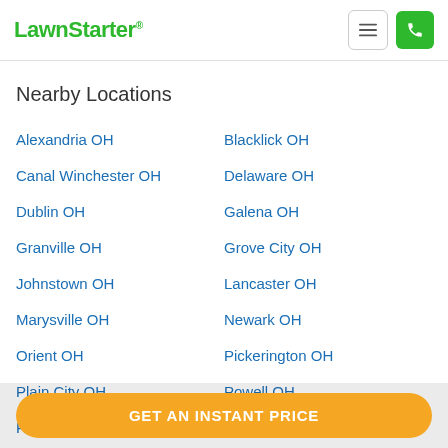LawnStarter
Nearby Locations
Alexandria OH
Blacklick OH
Canal Winchester OH
Delaware OH
Dublin OH
Galena OH
Granville OH
Grove City OH
Johnstown OH
Lancaster OH
Marysville OH
Newark OH
Orient OH
Pickerington OH
Plain City OH
Powell OH
R...
GET AN INSTANT PRICE